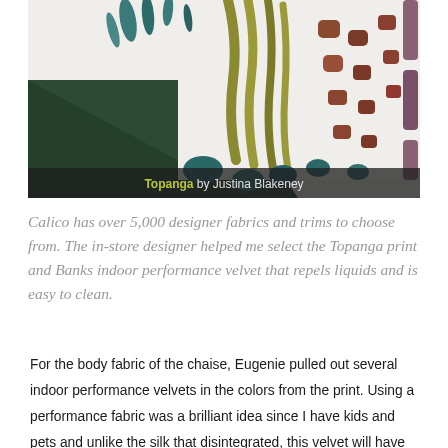[Figure (photo): Close-up photo of decorative fabric with botanical/abstract print in teal, olive, mustard, rust, and mauve colors on white background, with dark green velvet fabric in foreground. Caption reads 'Topanga by Justina Blakeney'.]
Topanga by Justina Blakeney
Calico has over 5,000 designer fabrics and trims to choose from. The in-store designer helped me select the Topanga print and Banks indoor performance velvet that repels liquids and is easy to clean.
For the body fabric of the chaise, Eugenie pulled out several indoor performance velvets in the colors from the print. Using a performance fabric was a brilliant idea since I have kids and pets and unlike the silk that disintegrated, this velvet will have longevity, with ease to clean. We chose a